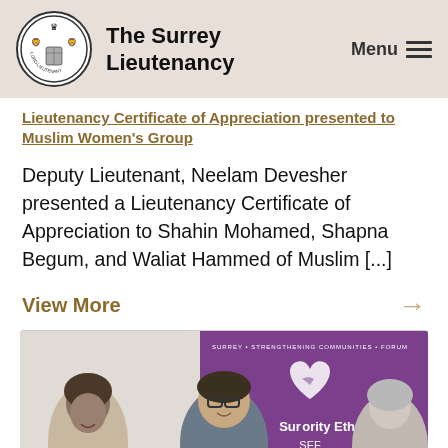The Surrey Lieutenancy
Lieutenancy Certificate of Appreciation presented to Muslim Women's Group
Deputy Lieutenant, Neelam Devesher presented a Lieutenancy Certificate of Appreciation to Shahin Mohamed, Shapna Begum, and Waliat Hammed of Muslim [...]
View More →
[Figure (photo): Three people standing in front of a purple Surrey Minority Ethnic Forum banner with a heart logo. The person in the center is smiling and wearing glasses.]